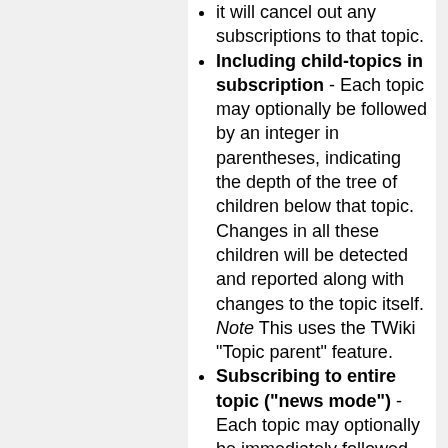it will cancel out any subscriptions to that topic.
Including child-topics in subscription - Each topic may optionally be followed by an integer in parentheses, indicating the depth of the tree of children below that topic. Changes in all these children will be detected and reported along with changes to the topic itself. Note This uses the TWiki "Topic parent" feature.
Subscribing to entire topic ("news mode") - Each topic may optionally be immediately followed by